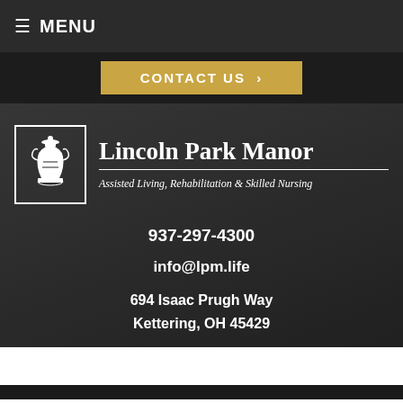≡ MENU
CONTACT US ›
[Figure (logo): Lincoln Park Manor logo with decorative emblem in a rectangular border, featuring ornamental design]
Lincoln Park Manor
Assisted Living, Rehabilitation & Skilled Nursing
937-297-4300
info@lpm.life
694 Isaac Prugh Way
Kettering, OH 45429